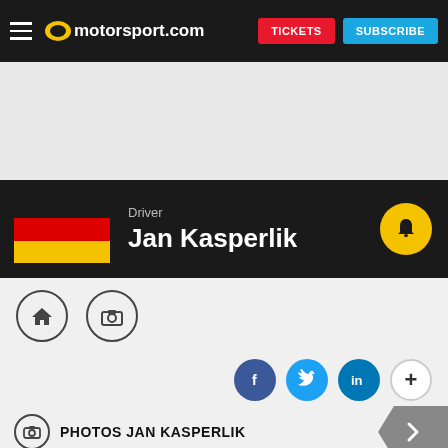motorsport.com | TICKETS | SUBSCRIBE
[Figure (other): Advertisement area (blank grey)]
Driver
Jan Kasperlik
[Figure (other): Navigation icons: home and camera circle buttons]
[Figure (other): Social sharing icons: Facebook, Twitter, LinkedIn, plus button]
PHOTOS JAN KASPERLIK
[Figure (photo): Two dark photo thumbnails at bottom of page]